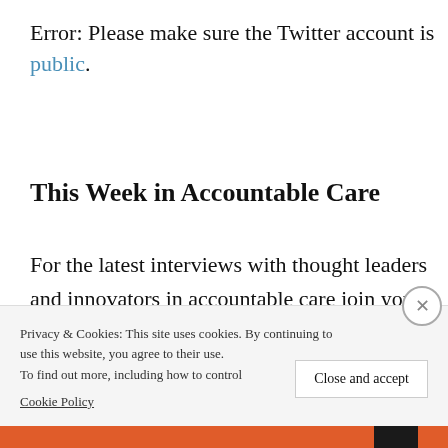Error: Please make sure the Twitter account is public.
This Week in Accountable Care
For the latest interviews with thought leaders and innovators in accountable care join your host Gregg Masters via:
Privacy & Cookies: This site uses cookies. By continuing to use this website, you agree to their use. To find out more, including how to control cookies, see here: Cookie Policy   Close and accept